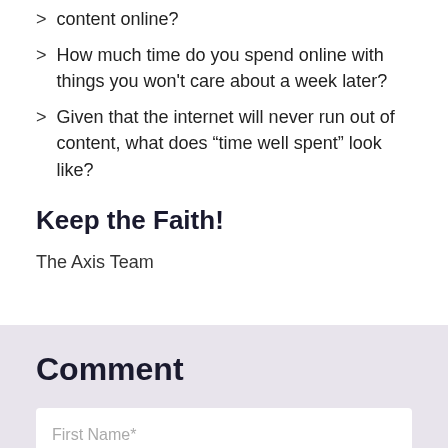content online?
How much time do you spend online with things you won't care about a week later?
Given that the internet will never run out of content, what does “time well spent” look like?
Keep the Faith!
The Axis Team
Comment
First Name*